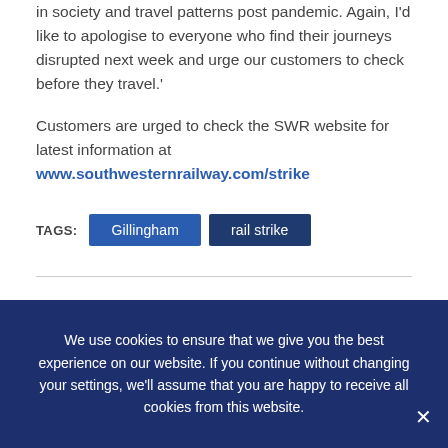in society and travel patterns post pandemic. Again, I'd like to apologise to everyone who find their journeys disrupted next week and urge our customers to check before they travel.'
Customers are urged to check the SWR website for latest information at www.southwesternrailway.com/strike
TAGS: Gillingham  rail strike
PREVIOUS POST
A relaxing life awaits at Bay Fields Meadow
NEXT POST
Hot weather brings amber wildfire alert for
We use cookies to ensure that we give you the best experience on our website. If you continue without changing your settings, we'll assume that you are happy to receive all cookies from this website.